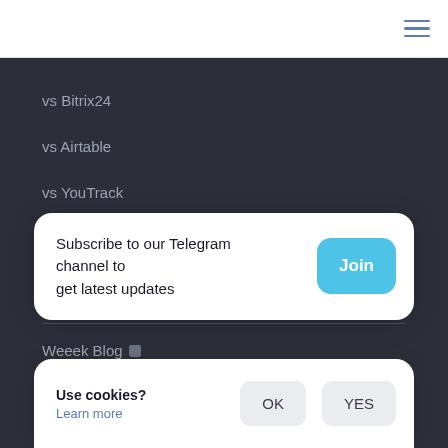Navigation bar with hamburger menu icon
vs Bitrix24
vs Airtable
vs YouTrack
All compare
Resources
Weeek Blog [external link icon]
Subscribe to our Telegram channel to get latest updates
Join
Use cookies?
Learn more
OK
YES